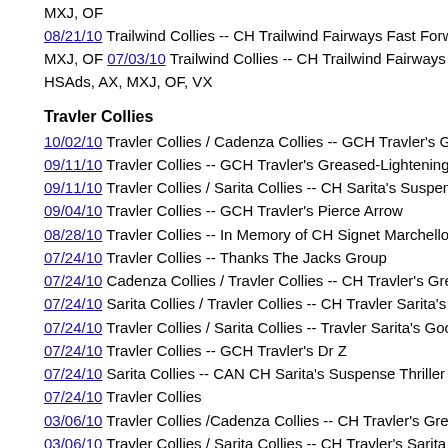MXJ, OF
08/21/10 Trailwind Collies -- CH Trailwind Fairways Fast Forward, TD MXJ, OF
07/03/10 Trailwind Collies -- CH Trailwind Fairways Fast Fo... HSAds, AX, MXJ, OF, VX
Travler Collies
10/02/10 Travler Collies / Cadenza Collies -- GCH Travler's Greased-
09/11/10 Travler Collies -- GCH Travler's Greased-Lightening
09/11/10 Travler Collies / Sarita Collies -- CH Sarita's Suspense Thrill
09/04/10 Travler Collies -- GCH Travler's Pierce Arrow
08/28/10 Travler Collies -- In Memory of CH Signet Marchello Enchan
07/24/10 Travler Collies -- Thanks The Jacks Group
07/24/10 Cadenza Collies / Travler Collies -- CH Travler's Greased-Li
07/24/10 Sarita Collies / Travler Collies -- CH Travler Sarita's Jeep La
07/24/10 Travler Collies / Sarita Collies -- Travler Sarita's Good To Kn
07/24/10 Travler Collies -- GCH Travler's Dr Z
07/24/10 Sarita Collies -- CAN CH Sarita's Suspense Thriller
07/24/10 Travler Collies
03/06/10 Travler Collies /Cadenza Collies -- CH Travler's Greased-Lig
03/06/10 Travler Collies / Sarita Collies -- CH Travler's Sarita
03/06/10 Travler Collies -- Bree Ardizzone and CH Travler's Dr Z
02/27/10 Travler Collies -- CH Travler's Liberty Sport, CGC, ROM, AC